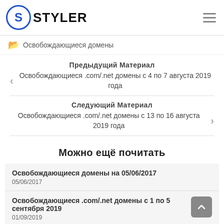STYLER
Освобождающиеся домены
Предыдущий Материал
Освобождающиеся .com/.net домены с 4 по 7 августа 2019 года
Следующий Материал
Освобождающиеся .com/.net домены с 13 по 16 августа 2019 года
Можно ещё почитать
Освобождающиеся домены на 05/06/2017
05/06/2017
Освобождающиеся .com/.net домены с 1 по 5 сентября 2019
01/09/2019